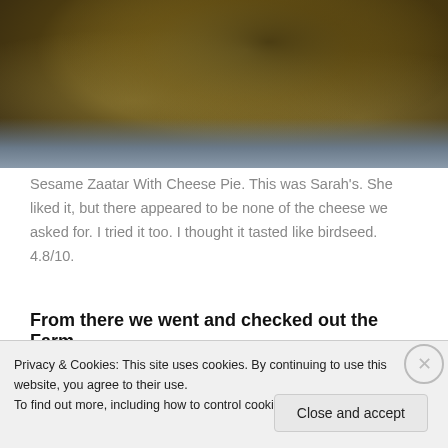[Figure (photo): Close-up photo of a Sesame Zaatar With Cheese Pie on parchment/wax paper, showing a baked bread item covered in dark sesame/zaatar seeds with melted cheese, placed in a box.]
Sesame Zaatar With Cheese Pie. This was Sarah's. She liked it, but there appeared to be none of the cheese we asked for. I tried it too. I thought it tasted like birdseed. 4.8/10.
From there we went and checked out the Farm
Privacy & Cookies: This site uses cookies. By continuing to use this website, you agree to their use.
To find out more, including how to control cookies, see here: Cookie Policy
Close and accept